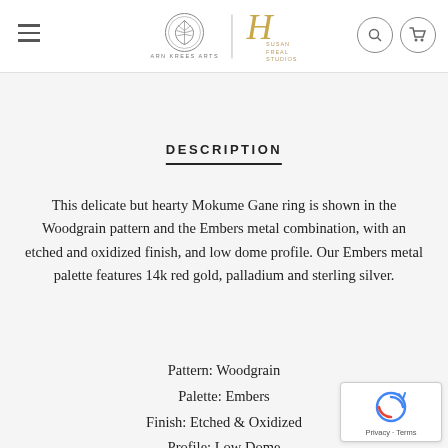ARN KREES ARTS | SUSAN FREAL STUDIOS
DESCRIPTION
This delicate but hearty Mokume Gane ring is shown in the Woodgrain pattern and the Embers metal combination, with an etched and oxidized finish, and low dome profile. Our Embers metal palette features 14k red gold, palladium and sterling silver.
Pattern: Woodgrain
Palette: Embers
Finish: Etched & Oxidized
Profile: Low Dome